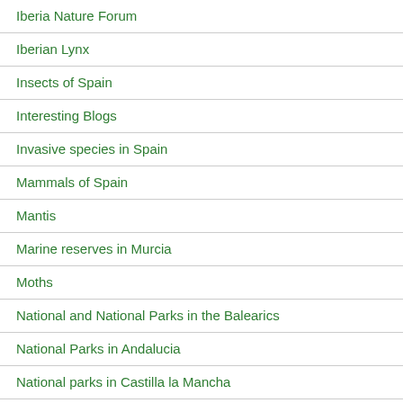Iberia Nature Forum
Iberian Lynx
Insects of Spain
Interesting Blogs
Invasive species in Spain
Mammals of Spain
Mantis
Marine reserves in Murcia
Moths
National and National Parks in the Balearics
National Parks in Andalucia
National parks in Castilla la Mancha
National Parks in Cataluña